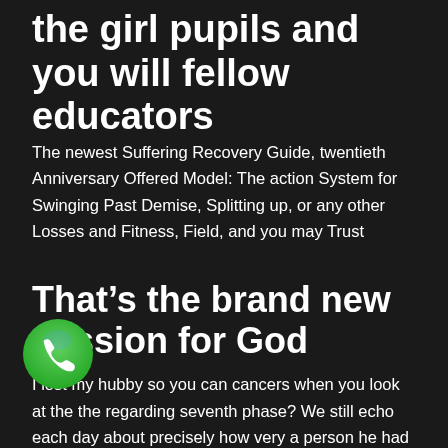the girl pupils and you will fellow educators
The newest Suffering Recovery Guide, twentieth Anniversary Offered Model: The action System for Swinging Past Demise, Splitting up, or any other Losses and Fitness, Field, and you may Trust
That’s the brand new passion for God
I lost my hubby so you can cancers when you look at the the regarding seventh phase? We still echo each day about precisely how very a person he had been to me and our very own daughter. And i however miss him however, I sure he could be when you look at the a good set, pain free and you can happier. I want to be in acceptance. I’m no further from the rage and assertion
[Figure (logo): WhatsApp green icon with phone handset symbol]